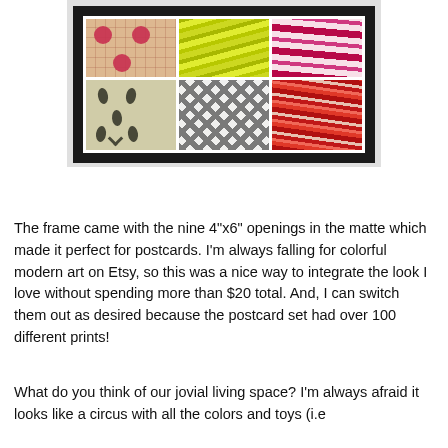[Figure (photo): A black-framed photo collage with a white matte containing six patterned postcards arranged in a 3x2 grid. Top row: pink/red circles on plaid, yellow-green chain/zigzag pattern, pink/magenta zebra stripes. Bottom row: cream background with dark teardrop/diamond shapes, black and white diamond geometric pattern, red/orange swirling pattern.]
The frame came with the nine 4"x6" openings in the matte which made it perfect for postcards.  I'm always falling for colorful modern art on Etsy, so this was a nice way to integrate the look I love without spending more than $20 total.  And, I can switch them out as desired because the postcard set had over 100 different prints!
What do you think of our jovial living space?  I'm always afraid it looks like a circus with all the colors and toys (i.e